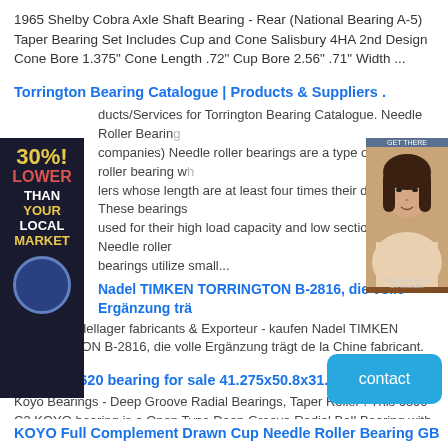1965 Shelby Cobra Axle Shaft Bearing - Rear (National Bearing A-5) Taper Bearing Set Includes Cup and Cone Salisbury 4HA 2nd Design Cone Bore 1.375" Cone Length .72" Cup Bore 2.56" .71" Width ...
Torrington Bearing Catalogue | Products & Suppliers .
ducts/Services for Torrington Bearing Catalogue. Needle Roller Bearings companies) Needle roller bearings are a type of radial roller bearing whose length are at least four times their diameter. These bearings are used for their high load capacity and low sectional height. Needle roller bearings utilize small...
Nadel TIMKEN TORRINGTON B-2816, die volle Ergänzung trä
Qualität Nadellager fabricants & Exporteur - kaufen Nadel TIMKEN TORRINGTON B-2816, die volle Ergänzung trägt de la Chine fabricant.
KOYO B2620 bearing for sale 41.275x50.8x31.
Koyo Bearings - Deep Groove Radial Bearings, Taper Roller . This 6300 C3 KOYO bearing is a Open Type Deep Groove Radial Ball Bearing with a larger than standard radial internal clearance The bearing's dimensions are 10x35x11.6300 C3Medium Series10mm - Bore SizeOpen TypeRadial Internal Clearance Greater Than...
KOYO Full Complement Drawn Cup Needle Roller Bearing GB